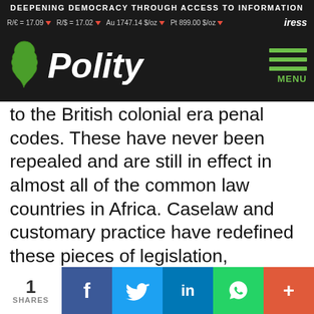DEEPENING DEMOCRACY THROUGH ACCESS TO INFORMATION
R/€ = 17.09 ▼  R/$ = 17.02 ▼  Au 1747.14 $/oz ▼  Pt 899.00 $/oz ▼  iress
[Figure (logo): Polity website logo with Africa continent silhouette in green]
to the British colonial era penal codes. These have never been repealed and are still in effect in almost all of the common law countries in Africa. Caselaw and customary practice have redefined these pieces of legislation, reshaping them as laws that criminalise any aspect of homosexual conduct and facilitate extreme homophobic policies in a number of countries. In recent months, some Governments have
1 SHARES  f  🐦  in  WhatsApp  +